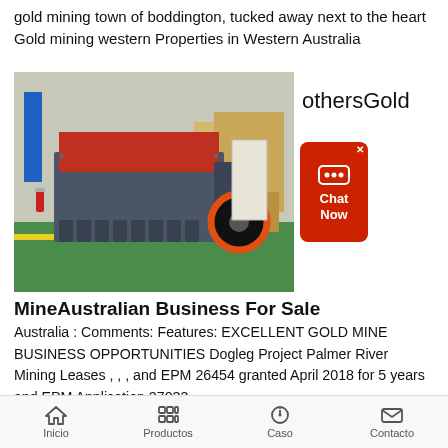gold mining town of boddington, tucked away next to the heart Gold mining western Properties in Western Australia
[Figure (photo): Industrial impact crusher / mining equipment machine in a factory warehouse setting, with red-lined top and orange wheel accent]
othersGold
[Figure (screenshot): Chat Now button widget in red with messaging icon and close X button]
MineAustralian Business For Sale
Australia : Comments: Features: EXCELLENT GOLD MINE BUSINESS OPPORTUNITIES Dogleg Project Palmer River Mining Leases , , , and EPM 26454 granted April 2018 for 5 years and EPM Application 27033 ...
Inicio   Productos   Caso   Contacto